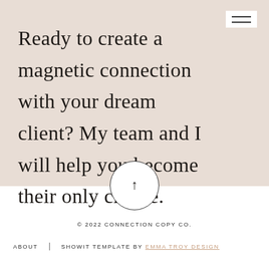Ready to create a magnetic connection with your dream client? My team and I will help you become their only choice.
[Figure (other): Hamburger menu icon — two horizontal lines on a white rectangular background, top-right corner]
[Figure (other): Circle button with upward arrow in the center, positioned at the boundary between the beige and white sections]
© 2022 CONNECTION COPY CO.
ABOUT  |  SHOWIT TEMPLATE BY EMMA TROY DESIGN